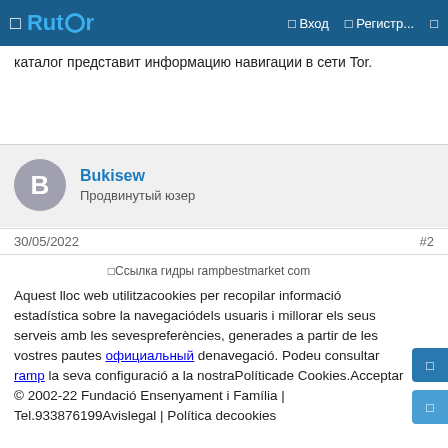Rutor | Вход | Регистр...
каталог представит информацию навигации в сети Tor.
Bukisew
Продвинутый юзер
30/05/2022  #2
[Figure (other): Broken image placeholder: Ссылка гидры rampbestmarket com]
Aquest lloc web utilitzacookies per recopilar informació estadística sobre la navegaciódels usuaris i millorar els seus serveis amb les sevespreferències, generades a partir de les vostres pautes официальный denavegació. Podeu consultar ramp la seva configuració a la nostraPolíticade Cookies.Acceptar © 2002-22 Fundació Ensenyament i Família | Tel.933876199Avislegal | Política decookies